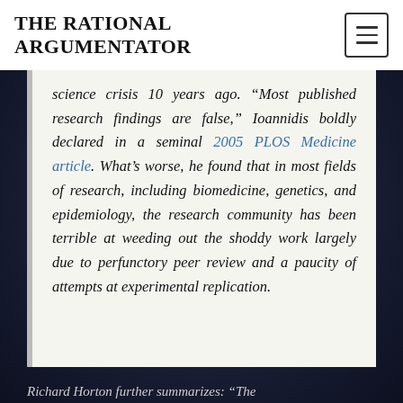THE RATIONAL ARGUMENTATOR
science crisis 10 years ago. “Most published research findings are false,” Ioannidis boldly declared in a seminal 2005 PLOS Medicine article. What’s worse, he found that in most fields of research, including biomedicine, genetics, and epidemiology, the research community has been terrible at weeding out the shoddy work largely due to perfunctory peer review and a paucity of attempts at experimental replication.
Richard Horton further summarizes: “The